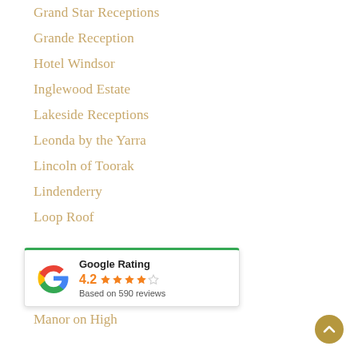Grand Star Receptions
Grande Reception
Hotel Windsor
Inglewood Estate
Lakeside Receptions
Leonda by the Yarra
Lincoln of Toorak
Lindenderry
Loop Roof
[Figure (infographic): Google Rating widget showing 4.2 stars based on 590 reviews, with Google 'G' logo in multicolor]
Manor on High